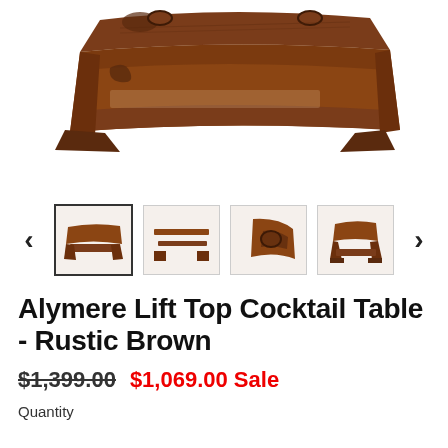[Figure (photo): Main product photo of the Alymere Lift Top Cocktail Table in Rustic Brown, showing dark carved wood details from an elevated angle.]
[Figure (photo): Thumbnail carousel with four product images of the cocktail table from different angles, with left and right navigation arrows. First thumbnail is selected with a bold border.]
Alymere Lift Top Cocktail Table - Rustic Brown
$1,399.00 $1,069.00 Sale
Quantity